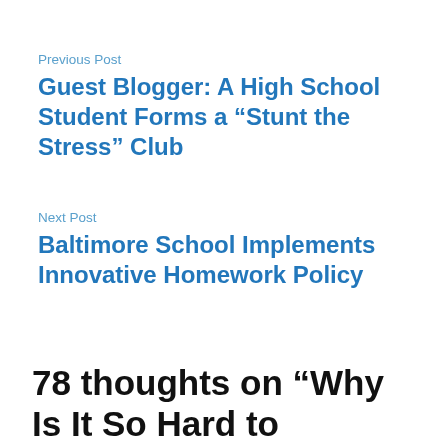Previous Post
Guest Blogger: A High School Student Forms a “Stunt the Stress” Club
Next Post
Baltimore School Implements Innovative Homework Policy
78 thoughts on “Why Is It So Hard to Become a Teacher?”